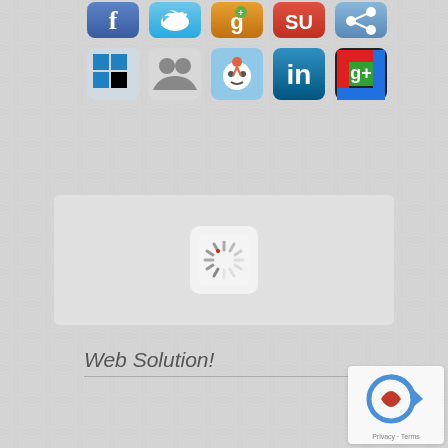[Figure (illustration): Top row of social media icons: Facebook, Twitter, Google+, StumbleUpon, and a share icon]
[Figure (illustration): Second row of social media icons: Windows/Metro tile, Myspace-style, Reddit, LinkedIn, Google+]
[Figure (illustration): Loading spinner inside a white rounded square, within a light grey panel]
Web Solution!
[Figure (logo): reCAPTCHA logo with arrow icon and Privacy - Terms text]